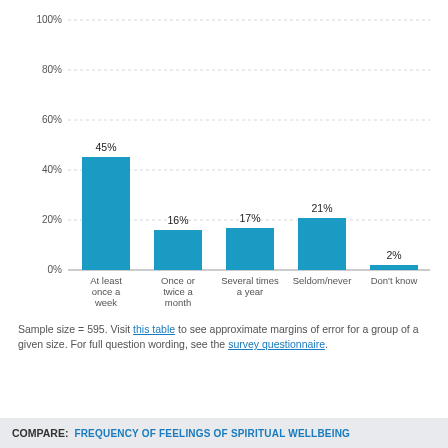[Figure (bar-chart): ]
Sample size = 595. Visit this table to see approximate margins of error for a group of a given size. For full question wording, see the survey questionnaire.
COMPARE: FREQUENCY OF FEELINGS OF SPIRITUAL WELLBEING